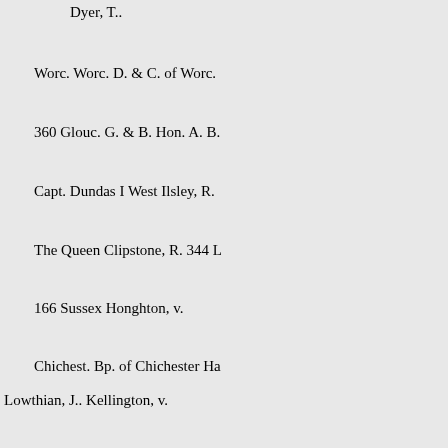Dyer, T..
Worc. Worc. D. & C. of Worc.
360 Glouc. G. & B. Hon. A. B.
Capt. Dundas I West Ilsley, R.
The Queen Clipstone, R. 344 L
166 Sussex Honghton, v.
Chichest. Bp. of Chichester Ha
Lowthian, J.. Kellington, v.
York Ripon Trinity Coll. Camb.
302 Pitt, C.
G. &
Rendcomb, R.
Preston, R.
249 Shield, H.